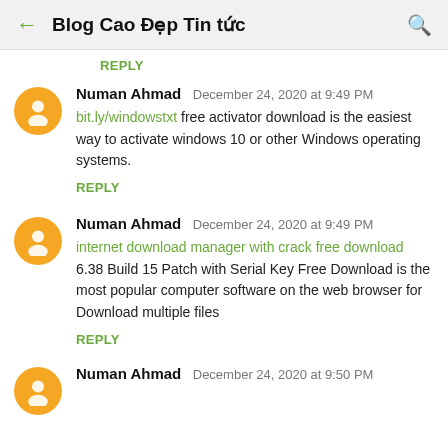Blog Cao Đẹp Tin tức
REPLY
Numan Ahmad  December 24, 2020 at 9:49 PM
bit.ly/windowstxt free activator download is the easiest way to activate windows 10 or other Windows operating systems.
REPLY
Numan Ahmad  December 24, 2020 at 9:49 PM
internet download manager with crack free download 6.38 Build 15 Patch with Serial Key Free Download is the most popular computer software on the web browser for Download multiple files
REPLY
Numan Ahmad  December 24, 2020 at 9:50 PM